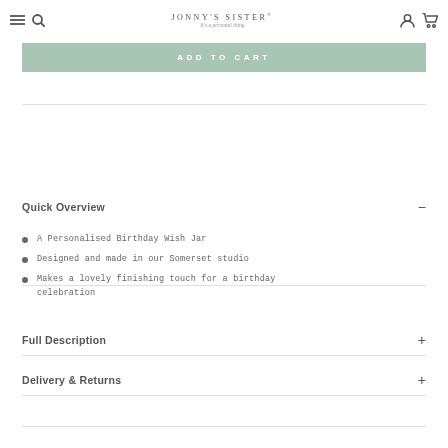JONNY'S SISTER® It's a personal thing
ADD TO CART
Quick Overview
A Personalised Birthday Wish Jar
Designed and made in our Somerset studio
Makes a lovely finishing touch for a birthday celebration
Full Description
Delivery & Returns